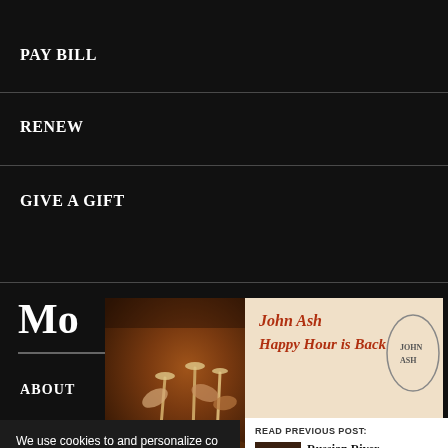PAY BILL
RENEW
GIVE A GIFT
Mo...
ABOUT
[Figure (photo): People clinking glasses at a restaurant table with food and drinks]
[Figure (infographic): John Ash Happy Hour is Back advertisement with logo]
READ PREVIOUS POST:
Russian River Restaurants: Guerneville Pop-Ups to Check Right Now
These pop-ups in Guerneville are serving up delicious dinners five days per week. Check now, before everyone else...
We use cookies to and personalize co Privacy Policy.
Cookie Setti